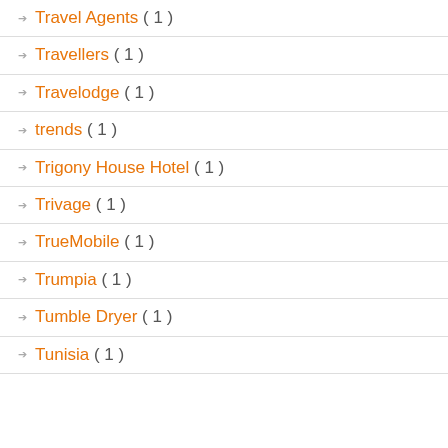Travel Agents ( 1 )
Travellers ( 1 )
Travelodge ( 1 )
trends ( 1 )
Trigony House Hotel ( 1 )
Trivage ( 1 )
TrueMobile ( 1 )
Trumpia ( 1 )
Tumble Dryer ( 1 )
Tunisia ( 1 )